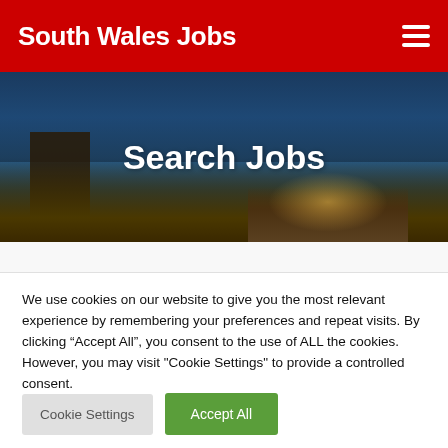South Wales Jobs
Search Jobs
We use cookies on our website to give you the most relevant experience by remembering your preferences and repeat visits. By clicking “Accept All”, you consent to the use of ALL the cookies. However, you may visit "Cookie Settings" to provide a controlled consent.
[Figure (screenshot): Cookie Settings and Accept All buttons]